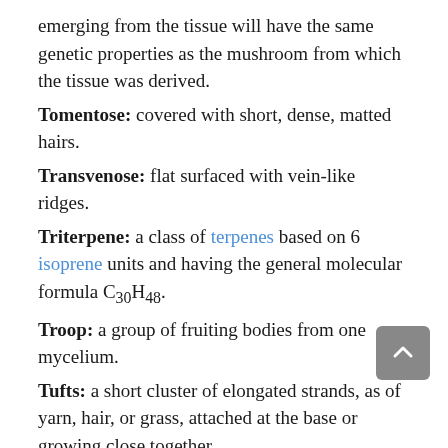emerging from the tissue will have the same genetic properties as the mushroom from which the tissue was derived.
Tomentose: covered with short, dense, matted hairs.
Transvenose: flat surfaced with vein-like ridges.
Triterpene: a class of terpenes based on 6 isoprene units and having the general molecular formula C30H48.
Troop: a group of fruiting bodies from one mycelium.
Tufts: a short cluster of elongated strands, as of yarn, hair, or grass, attached at the base or growing close together.
Umbilicate: having a central mark or depression resembling a navel.
Umbo: a knoblike protuberance arising from a